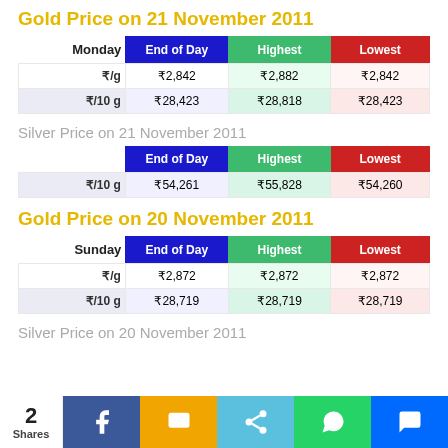Gold Price on 21 November 2011
| Monday | End of Day | Highest | Lowest |
| --- | --- | --- | --- |
| ₹/g | ₹2,842 | ₹2,882 | ₹2,842 |
| ₹/10 g | ₹28,423 | ₹28,818 | ₹28,423 |
Silver Price on 21 November 2011
|  | End of Day | Highest | Lowest |
| --- | --- | --- | --- |
| ₹/10 g | ₹54,261 | ₹55,828 | ₹54,260 |
Gold Price on 20 November 2011
| Sunday | End of Day | Highest | Lowest |
| --- | --- | --- | --- |
| ₹/g | ₹2,872 | ₹2,872 | ₹2,872 |
| ₹/10 g | ₹28,719 | ₹28,719 | ₹28,719 |
Silver Price on 20 November 2011
2 Shares